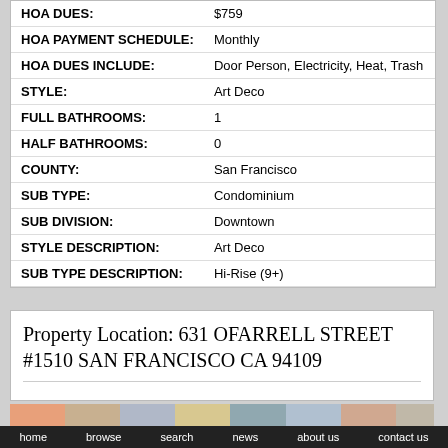| HOA DUES: | $759 |
| HOA PAYMENT SCHEDULE: | Monthly |
| HOA DUES INCLUDE: | Door Person, Electricity, Heat, Trash |
| STYLE: | Art Deco |
| FULL BATHROOMS: | 1 |
| HALF BATHROOMS: | 0 |
| COUNTY: | San Francisco |
| SUB TYPE: | Condominium |
| SUB DIVISION: | Downtown |
| STYLE DESCRIPTION: | Art Deco |
| SUB TYPE DESCRIPTION: | Hi-Rise (9+) |
Property Location: 631 OFARRELL STREET #1510 SAN FRANCISCO CA 94109
home   browse   search   news   about us   contact us